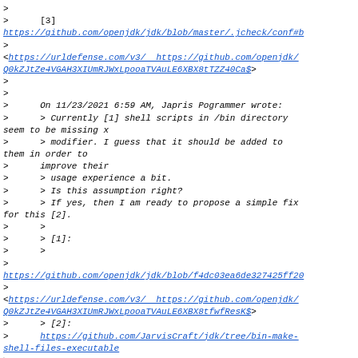> 
>      [3]
https://github.com/openjdk/jdk/blob/master/.jcheck/conf#b
>
<https://urldefense.com/v3/  https://github.com/openjdk/
Q0kZJtZe4VGAH3XIUmRJWxLpooaTVAuLE6XBX8tTZZ40Ca$>
>
>
>      On 11/23/2021 6:59 AM, Japris Pogrammer wrote:
>      > Currently [1] shell scripts in /bin directory seem to be missing x
>      > modifier. I guess that it should be added to them in order to
>           improve their
>      > usage experience a bit.
>      > Is this assumption right?
>      > If yes, then I am ready to propose a simple fix for this [2].
>      >
>      > [1]:
>      >
>
https://github.com/openjdk/jdk/blob/f4dc03ea6de327425ff20
>
<https://urldefense.com/v3/  https://github.com/openjdk/
Q0kZJtZe4VGAH3XIUmRJWxLpooaTVAuLE6XBX8tfwfResK$>
>      > [2]:
>      https://github.com/JarvisCraft/jdk/tree/bin-make-shell-files-executable
>
<https://urldefense.com/...